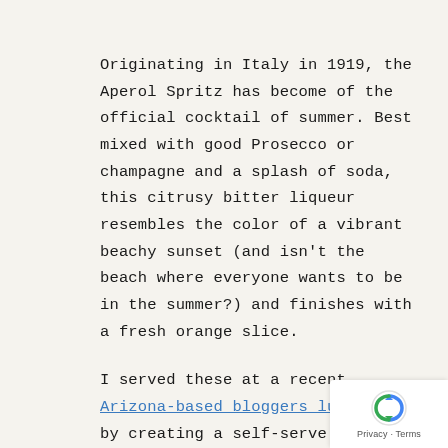Originating in Italy in 1919, the Aperol Spritz has become of the official cocktail of summer. Best mixed with good Prosecco or champagne and a splash of soda, this citrusy bitter liqueur resembles the color of a vibrant beachy sunset (and isn't the beach where everyone wants to be in the summer?) and finishes with a fresh orange slice.

I served these at a recent Arizona-based bloggers luncheon by creating a self-serve bar with lots of fun garnishes so that my guests could make their own, according to their preferences. Here's my guide to making your own Aperol spritz bar for your next summer